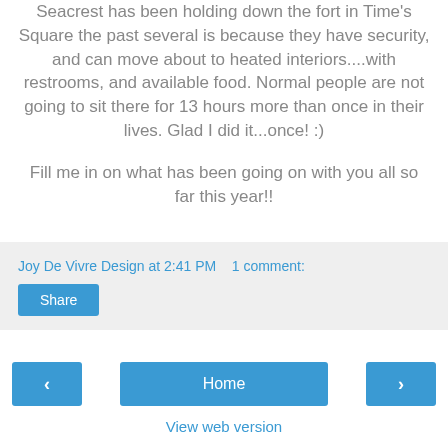Seacrest has been holding down the fort in Time's Square the past several is because they have security, and can move about to heated interiors....with restrooms, and available food. Normal people are not going to sit there for 13 hours more than once in their lives. Glad I did it...once! :)
Fill me in on what has been going on with you all so far this year!!
Joy De Vivre Design at 2:41 PM   1 comment:
Share
< | Home | >
View web version